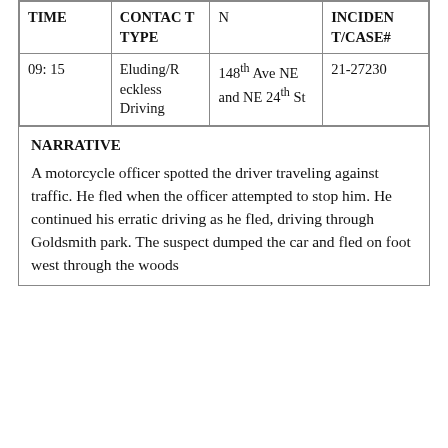| TIME | CONTACT TYPE | LOCATION | INCIDENT/CASE# |
| --- | --- | --- | --- |
| 09: 15 | Eluding/Reckless Driving | 148th Ave NE and NE 24th St | 21-27230 |
NARRATIVE
A motorcycle officer spotted the driver traveling against traffic. He fled when the officer attempted to stop him. He continued his erratic driving as he fled, driving through Goldsmith park. The suspect dumped the car and fled on foot west through the woods